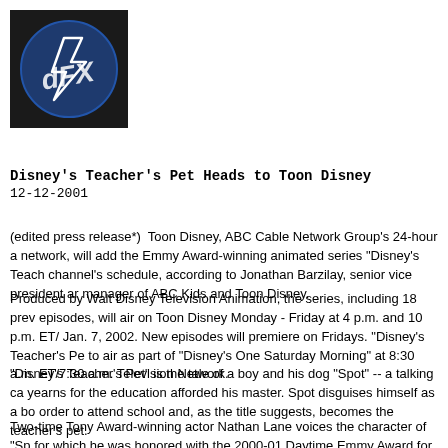[Figure (logo): dFX logo: dark square with blue circle containing a lightning bolt and the letters 'dFX' in white handwritten style]
Disney's Teacher's Pet Heads to Toon Disney
12-12-2001
(edited press release*)  Toon Disney, ABC Cable Network Group's 24-hour a network, will add the Emmy Award-winning animated series "Disney's Teach channel's schedule, according to Jonathan Barzilay, senior vice president ar manager of ABC Kids and Toon Disney.
Produced by Walt Disney Television Animation, the series, including 18 prev episodes, will air on Toon Disney Monday - Friday at 4 p.m. and 10 p.m. ET/ Jan. 7, 2002. New episodes will premiere on Fridays. "Disney's Teacher's Pe to air as part of "Disney's One Saturday Morning" at 8:30 a.m. ET/7:30 a.m. Television Network.
"Disney's Teacher's Pet" is the tale of a boy and his dog "Spot" -- a talking ca yearns for the education afforded his master. Spot disguises himself as a bo order to attend school and, as the title suggests, becomes the teacher's pet.
Two-time Tony Award-winning actor Nathan Lane voices the character of "Sp for which he was honored with the 2000-01 Daytime Emmy Award for Outsta